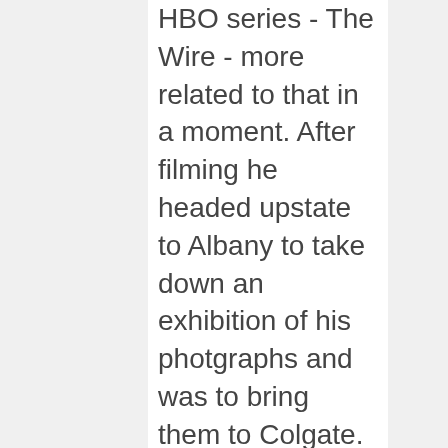HBO series - The Wire - more related to that in a moment. After filming he headed upstate to Albany to take down an exhibition of his photgraphs and was to bring them to Colgate. On route we got a call from him as he was paaing Poughkeepsie on the Taconic. Whe he is done at Colgate he is going to